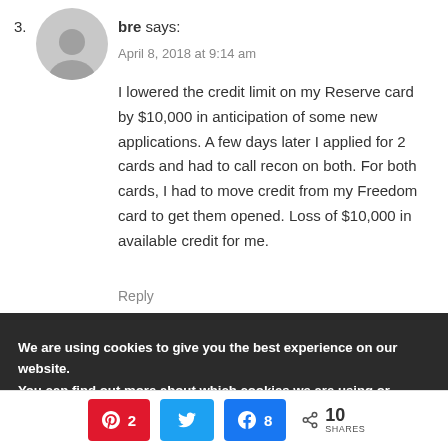3.
bre says:
April 8, 2018 at 9:14 am
I lowered the credit limit on my Reserve card by $10,000 in anticipation of some new applications. A few days later I applied for 2 cards and had to call recon on both. For both cards, I had to move credit from my Freedom card to get them opened. Loss of $10,000 in available credit for me.
Reply
We are using cookies to give you the best experience on our website.
You can find out more about which cookies we are using or switch them off in settings.
2  8  10 SHARES